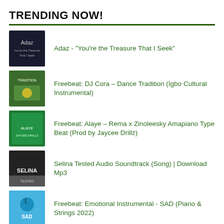TRENDING NOW!
Adaz - "You're the Treasure That I Seek"
Freebeat: DJ Cora – Dance Tradition (Igbo Cultural Instrumental)
Freebeat: Alaye – Rema x Zinoleesky Amapiano Type Beat (Prod by Jaycee Drillz)
Selina Tested Audio Soundtrack (Song) | Download Mp3
Freebeat: Emotional Instrumental - SAD (Piano & Strings 2022)
Freebeat: Afropop – Free Omah Lay Type Beat (Prod by ThankG)
Freebeat: Emotional Afrobeat – Tems Type